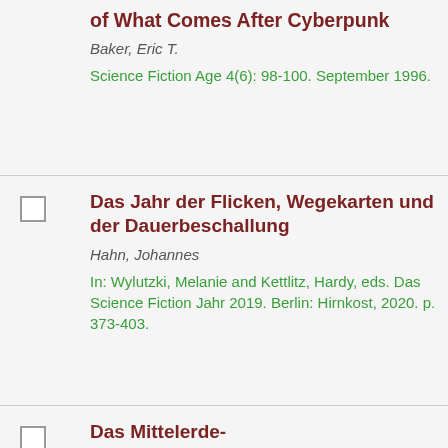of What Comes After Cyberpunk
Baker, Eric T.
Science Fiction Age 4(6): 98-100. September 1996.
Das Jahr der Flicken, Wegekarten und der Dauerbeschallung
Hahn, Johannes
In: Wylutzki, Melanie and Kettlitz, Hardy, eds. Das Science Fiction Jahr 2019. Berlin: Hirnkost, 2020. p. 373-403.
Das Mittelerde-